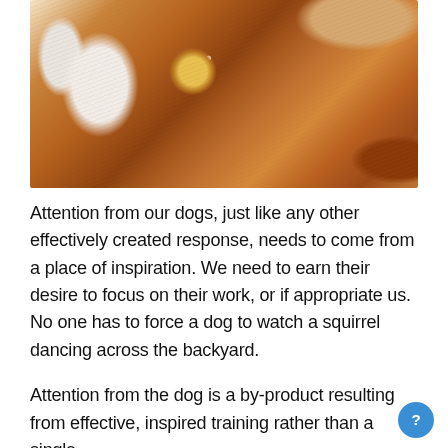[Figure (photo): Close-up macro photograph of a dog's eye and face, showing golden/amber eye with brown fur. The dog appears to be a golden or red-colored breed. White fur visible on the left side.]
Attention from our dogs, just like any other effectively created response, needs to come from a place of inspiration. We need to earn their desire to focus on their work, or if appropriate us. No one has to force a dog to watch a squirrel dancing across the backyard.
Attention from the dog is a by-product resulting from effective, inspired training rather than a single